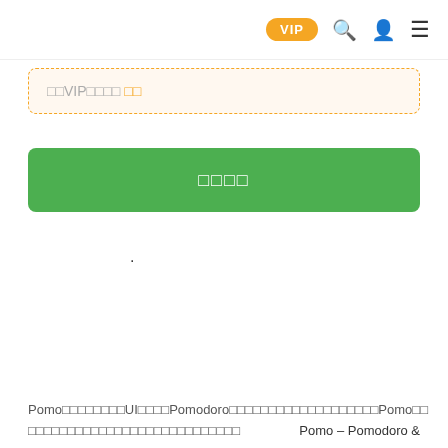VIP (badge) search user menu
开通VIP畅享全站  开通
立即开通
.
Pomo是一款精心设计的UI界面工具Pomodoro番茄工作法帮助提高工作效率以及专注力Pomo是一Pomo – Pomodoro &